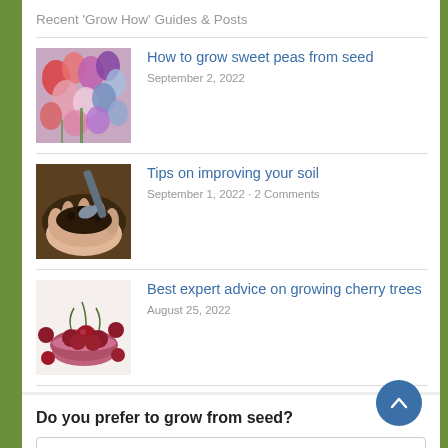Recent 'Grow How' Guides & Posts
[Figure (photo): Colorful sweet pea flowers in pink, purple, red and white]
How to grow sweet peas from seed
September 2, 2022
[Figure (photo): A hand holding rich dark soil/compost]
Tips on improving your soil
September 1, 2022 · 2 Comments
[Figure (photo): A bowl of ripe cherries with more scattered around on a white surface]
Best expert advice on growing cherry trees
August 25, 2022
Do you prefer to grow from seed?
I always grow from seed